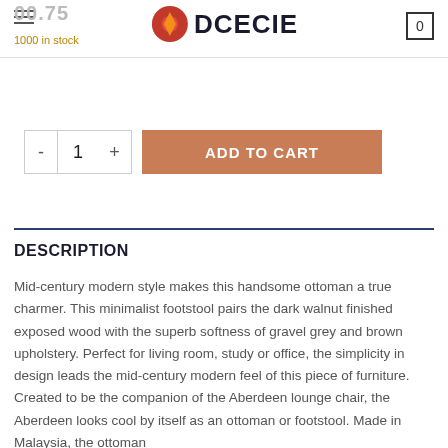DCECIE — header with hamburger menu, logo, and cart icon
1000 in stock
[Figure (other): Add to cart quantity selector with minus, 1, plus buttons and an ADD TO CART button]
DESCRIPTION
Mid-century modern style makes this handsome ottoman a true charmer. This minimalist footstool pairs the dark walnut finished exposed wood with the superb softness of gravel grey and brown upholstery. Perfect for living room, study or office, the simplicity in design leads the mid-century modern feel of this piece of furniture. Created to be the companion of the Aberdeen lounge chair, the Aberdeen looks cool by itself as an ottoman or footstool. Made in Malaysia, the ottoman